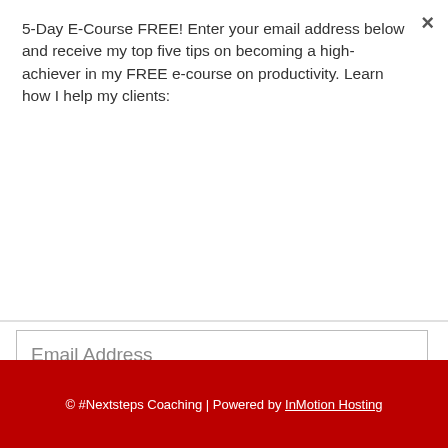×
5-Day E-Course FREE! Enter your email address below and receive my top five tips on becoming a high-achiever in my FREE e-course on productivity. Learn how I help my clients:
Subscribe
Email Address
Subscribe
© #Nextsteps Coaching | Powered by InMotion Hosting